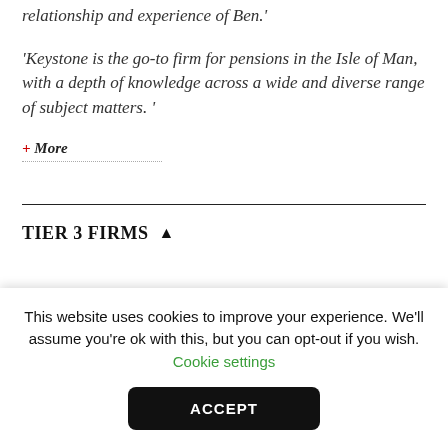relationship and experience of Ben.'
'Keystone is the go-to firm for pensions in the Isle of Man, with a depth of knowledge across a wide and diverse range of subject matters. '
+ More
TIER 3 FIRMS
This website uses cookies to improve your experience. We'll assume you're ok with this, but you can opt-out if you wish. Cookie settings
ACCEPT